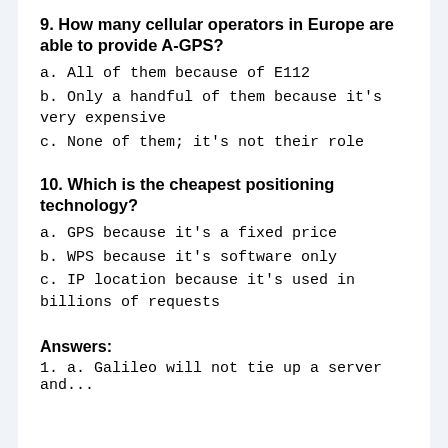9. How many cellular operators in Europe are able to provide A-GPS?
a. All of them because of E112
b. Only a handful of them because it's very expensive
c. None of them; it's not their role
10. Which is the cheapest positioning technology?
a. GPS because it's a fixed price
b. WPS because it's software only
c. IP location because it's used in billions of requests
Answers:
1. a. Galileo will not tie up a server and...